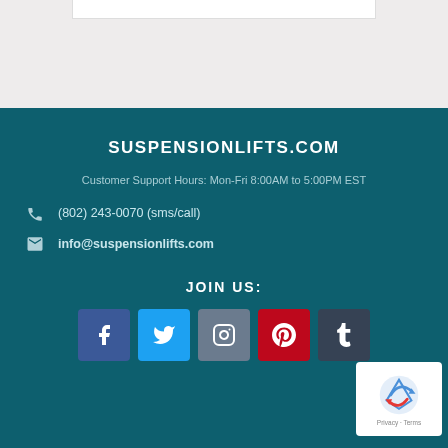[Figure (screenshot): Top light gray section with a white bar element]
SUSPENSIONLIFTS.COM
Customer Support Hours: Mon-Fri 8:00AM to 5:00PM EST
(802) 243-0070 (sms/call)
info@suspensionlifts.com
JOIN US:
[Figure (illustration): Social media icons row: Facebook, Twitter, Instagram, Pinterest, Tumblr]
[Figure (logo): reCAPTCHA badge with Privacy and Terms text]